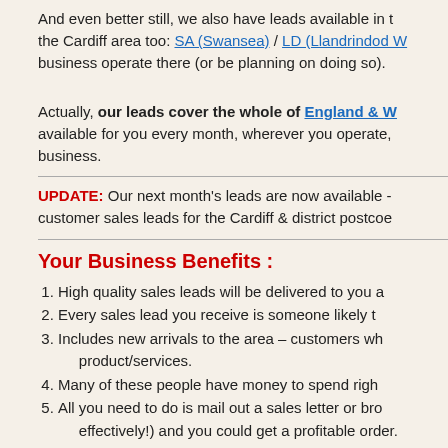And even better still, we also have leads available in the Cardiff area too: SA (Swansea) / LD (Llandrindod W... business operate there (or be planning on doing so).
Actually, our leads cover the whole of England & W... available for you every month, wherever you operate, business.
UPDATE: Our next month's leads are now available - customer sales leads for the Cardiff & district postcode...
Your Business Benefits :
High quality sales leads will be delivered to you a...
Every sales lead you receive is someone likely t...
Includes new arrivals to the area – customers wh... product/services.
Many of these people have money to spend righ...
All you need to do is mail out a sales letter or bro... effectively!) and you could get a profitable order.
Customers for everything from small sales up to... thousands of pounds.
Reduces reliance on hard selling and completely...